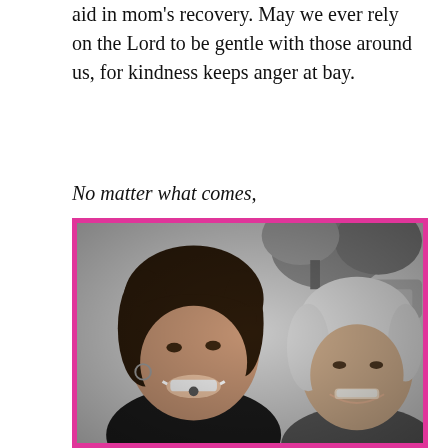aid in mom's recovery. May we ever rely on the Lord to be gentle with those around us, for kindness keeps anger at bay.
No matter what comes,
[Figure (photo): Black and white photograph of two women smiling closely together, framed with a pink border. The woman on the left has dark hair with bangs and is wearing a black top. The older woman on the right has white/gray hair.]